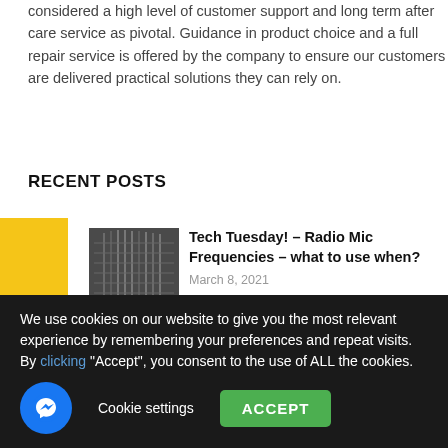considered a high level of customer support and long term after care service as pivotal. Guidance in product choice and a full repair service is offered by the company to ensure our customers are delivered practical solutions they can rely on.
RECENT POSTS
[Figure (photo): Feefo Reviews yellow sidebar label]
Tech Tuesday! – Radio Mic Frequencies – what to use when? March 8, 2021
Lectrosonics Wireless Compatibility Chart August 15, 2022
We use cookies on our website to give you the most relevant experience by remembering your preferences and repeat visits. By clicking "Accept", you consent to the use of ALL the cookies.
Cookie settings  ACCEPT